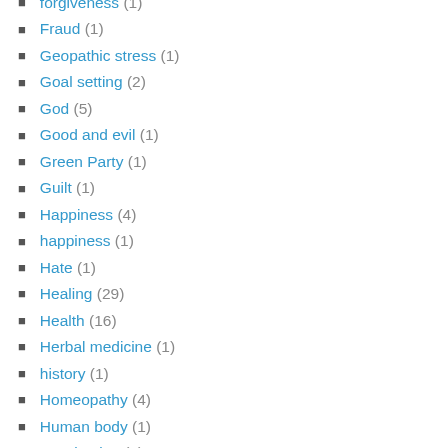forgiveness (1)
Fraud (1)
Geopathic stress (1)
Goal setting (2)
God (5)
Good and evil (1)
Green Party (1)
Guilt (1)
Happiness (4)
happiness (1)
Hate (1)
Healing (29)
Health (16)
Herbal medicine (1)
history (1)
Homeopathy (4)
Human body (1)
Imagination (2)
Imagination (1)
Influenza. flu (1)
Inner power (6)